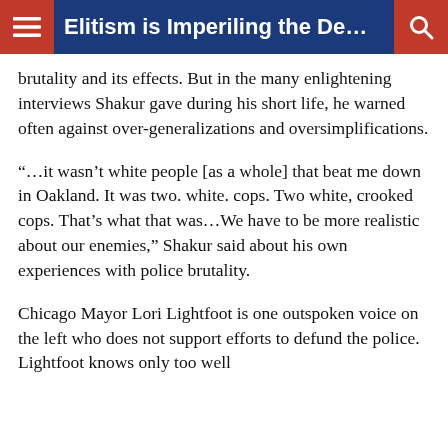Elitism is Imperiling the Democratic...
brutality and its effects. But in the many enlightening interviews Shakur gave during his short life, he warned often against over-generalizations and oversimplifications.
“…it wasn’t white people [as a whole] that beat me down in Oakland. It was two. white. cops. Two white, crooked cops. That’s what that was…We have to be more realistic about our enemies,” Shakur said about his own experiences with police brutality.
Chicago Mayor Lori Lightfoot is one outspoken voice on the left who does not support efforts to defund the police. Lightfoot knows only too well